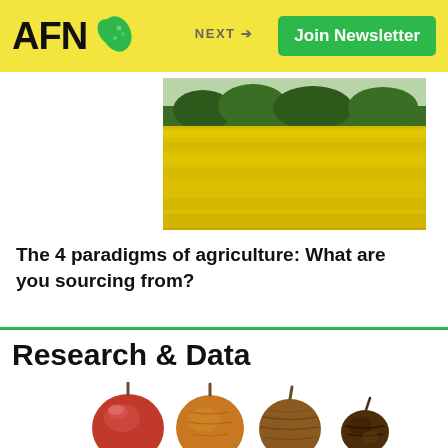AFN | NEXT → | Join Newsletter
[Figure (photo): Aerial/ground view of a bright yellow flowering rapeseed/canola field with green trees in the background]
The 4 paradigms of agriculture: What are you sourcing from?
Research & Data
[Figure (photo): Four apples showing progressive stages of decay from left to right: fresh red apple, slightly wrinkled orange-yellow apple, more wrinkled brownish apple, and severely rotted dark shriveled apple]